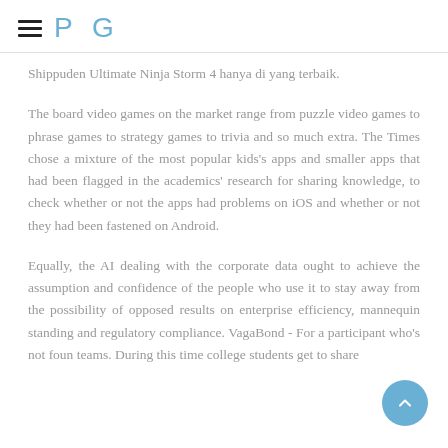P G
Shippuden Ultimate Ninja Storm 4 hanya di yang terbaik.
The board video games on the market range from puzzle video games to phrase games to strategy games to trivia and so much extra. The Times chose a mixture of the most popular kids's apps and smaller apps that had been flagged in the academics' research for sharing knowledge, to check whether or not the apps had problems on iOS and whether or not they had been fastened on Android.
Equally, the AI dealing with the corporate data ought to achieve the assumption and confidence of the people who use it to stay away from the possibility of opposed results on enterprise efficiency, mannequin standing and regulatory compliance. VagaBond - For a participant who's not found teams. During this time college students get to share